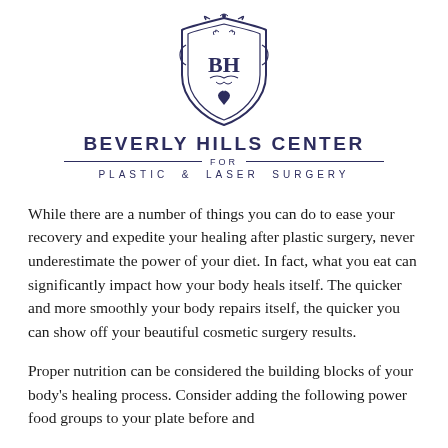[Figure (logo): Beverly Hills Center for Plastic & Laser Surgery shield crest logo with BH initials]
BEVERLY HILLS CENTER FOR PLASTIC & LASER SURGERY
While there are a number of things you can do to ease your recovery and expedite your healing after plastic surgery, never underestimate the power of your diet. In fact, what you eat can significantly impact how your body heals itself. The quicker and more smoothly your body repairs itself, the quicker you can show off your beautiful cosmetic surgery results.
Proper nutrition can be considered the building blocks of your body's healing process. Consider adding the following power food groups to your plate before and